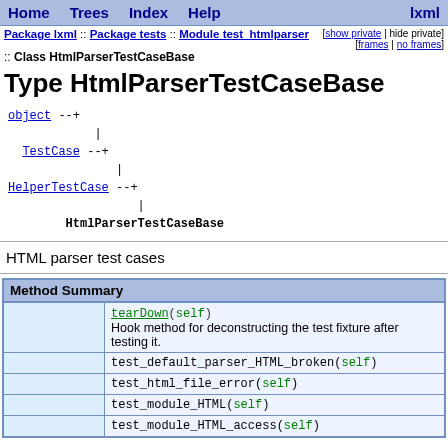Home  Trees  Index  Help  lxml
Package lxml :: Package tests :: Module test_htmlparser [show private | hide private] [frames | no frames]
:: Class HtmlParserTestCaseBase
Type HtmlParserTestCaseBase
[Figure (flowchart): Class hierarchy: object --> TestCase --> HelperTestCase --> HtmlParserTestCaseBase]
HTML parser test cases
| Method Summary |
| --- |
|  | tearDown(self)
Hook method for deconstructing the test fixture after testing it. |
|  | test_default_parser_HTML_broken(self) |
|  | test_html_file_error(self) |
|  | test_module_HTML(self) |
|  | test_module_HTML_access(self) |